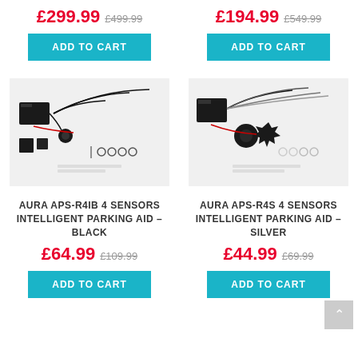£299.99 £499.99
£194.99 £549.99
ADD TO CART
ADD TO CART
[Figure (photo): AURA APS-R4IB parking sensor kit components laid out on white background, black sensors and cables]
[Figure (photo): AURA APS-R4S parking sensor kit components laid out on white background, silver/black sensors and cables]
AURA APS-R4IB 4 SENSORS INTELLIGENT PARKING AID - BLACK
AURA APS-R4S 4 SENSORS INTELLIGENT PARKING AID - SILVER
£64.99 £109.99
£44.99 £69.99
ADD TO CART
ADD TO CART